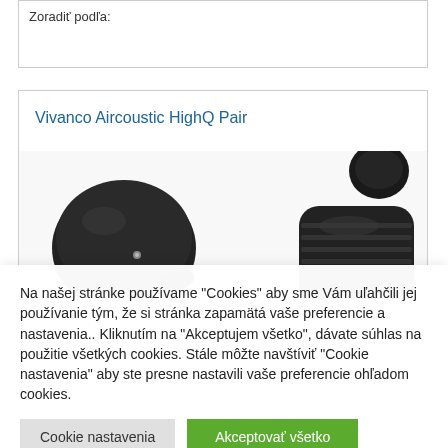Zoradiť podľa:
Vivanco Aircoustic HighQ Pair
[Figure (photo): Two black Vivanco Aircoustic HighQ Pair wireless earbuds shown up close against a white background. The left earbud has a smooth rounded shape with a small metallic dot. The right earbud shows ridged texture and an ear tip.]
Na našej stránke používame "Cookies" aby sme Vám uľahčili jej používanie tým, že si stránka zapamätá vaše preferencie a nastavenia.. Kliknutím na "Akceptujem všetko", dávate súhlas na použitie všetkých cookies. Stále môžte navštíviť "Cookie nastavenia" aby ste presne nastavili vaše preferencie ohľadom cookies.
Cookie nastavenia
Akceptovať všetko